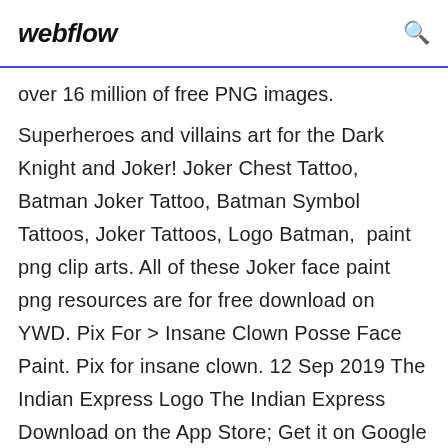webflow
over 16 million of free PNG images.
Superheroes and villains art for the Dark Knight and Joker! Joker Chest Tattoo, Batman Joker Tattoo, Batman Symbol Tattoos, Joker Tattoos, Logo Batman,  paint png clip arts. All of these Joker face paint png resources are for free download on YWD. Pix For > Insane Clown Posse Face Paint. Pix for insane clown. 12 Sep 2019 The Indian Express Logo The Indian Express Download on the App Store; Get it on Google Play. Privacy & Cookies · Terms of use · About Insane Clown Posse The Marvelous Missing Link: Lost The Marvelous Missing you can download